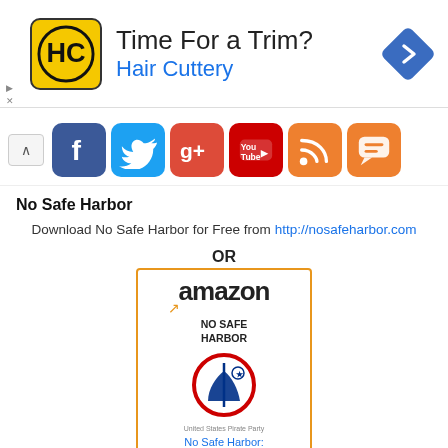[Figure (illustration): Hair Cuttery advertisement banner with HC logo, 'Time For a Trim?' headline, 'Hair Cuttery' subheading in blue, and a blue navigation arrow icon on the right]
[Figure (illustration): Social media share bar with collapse button and icons for Facebook, Twitter, Google+, YouTube, RSS, and Chat]
No Safe Harbor
Download No Safe Harbor for Free from http://nosafeharbor.com
OR
[Figure (illustration): Amazon product listing card for 'No Safe Harbor: United States...' book showing Amazon logo, book cover with Pirate Party logo, price $9.99 and Amazon Prime badge]